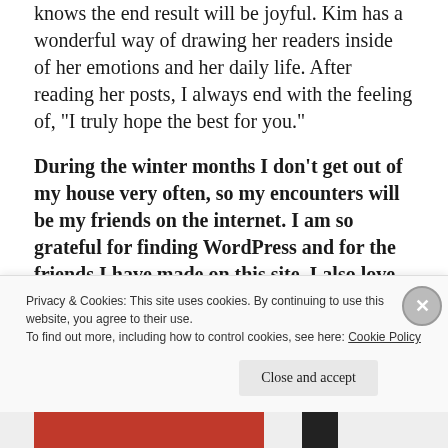knows the end result will be joyful. Kim has a wonderful way of drawing her readers inside of her emotions and her daily life. After reading her posts, I always end with the feeling of, “I truly hope the best for you.”
During the winter months I don’t get out of my house very often, so my encounters will be my friends on the internet. I am so grateful for finding WordPress and for the friends I have made on this site. I also love how the employees of WordPress draw their clients into different challenges and prompts.
Privacy & Cookies: This site uses cookies. By continuing to use this website, you agree to their use.
To find out more, including how to control cookies, see here: Cookie Policy
Close and accept